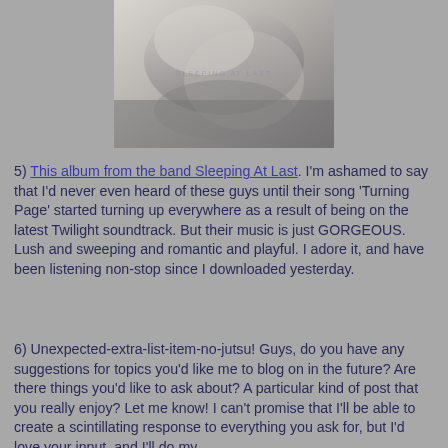[Figure (photo): Album cover for Sleeping At Last — a soft, muted greyscale close-up photograph of draped fabric or skin, with faint text reading 'SLEEPING AT LAST' in the center.]
5) This album from the band Sleeping At Last. I'm ashamed to say that I'd never even heard of these guys until their song 'Turning Page' started turning up everywhere as a result of being on the latest Twilight soundtrack. But their music is just GORGEOUS. Lush and sweeping and romantic and playful. I adore it, and have been listening non-stop since I downloaded yesterday.
6) Unexpected-extra-list-item-no-jutsu! Guys, do you have any suggestions for topics you'd like me to blog on in the future? Are there things you'd like to ask about? A particular kind of post that you really enjoy? Let me know! I can't promise that I'll be able to create a scintillating response to everything you ask for, but I'd love your input, and I'll do my